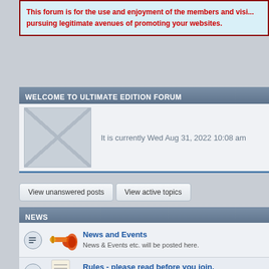This forum is for the use and enjoyment of the members and visitors pursuing legitimate avenues of promoting your websites.
WELCOME TO ULTIMATE EDITION FORUM
[Figure (other): Placeholder image with X cross pattern]
It is currently Wed Aug 31, 2022 10:08 am
View unanswered posts
View active topics
NEWS
[Figure (illustration): Trumpet/horn icon for News and Events forum]
News and Events
News & Events etc. will be posted here.
[Figure (illustration): Pencil/notepad icon for Rules forum]
Rules - please read before you join.
Rules for posting...